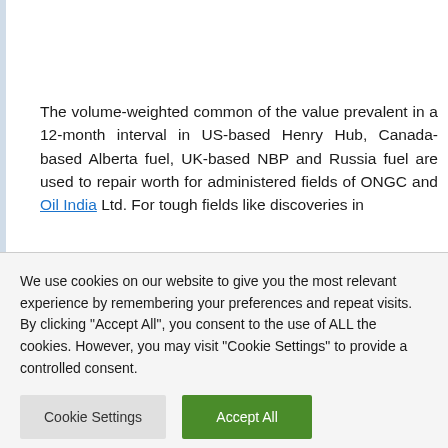The volume-weighted common of the value prevalent in a 12-month interval in US-based Henry Hub, Canada-based Alberta fuel, UK-based NBP and Russia fuel are used to repair worth for administered fields of ONGC and Oil India Ltd. For tough fields like discoveries in
We use cookies on our website to give you the most relevant experience by remembering your preferences and repeat visits. By clicking "Accept All", you consent to the use of ALL the cookies. However, you may visit "Cookie Settings" to provide a controlled consent.